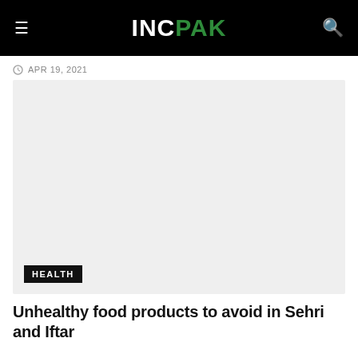INC PAK
APR 19, 2021
[Figure (photo): Large light gray placeholder image with a HEALTH category badge in the lower left corner]
Unhealthy food products to avoid in Sehri and Iftar